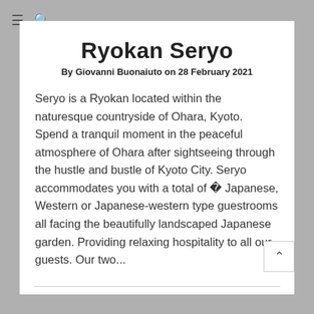≡  🔍
Ryokan Seryo
By Giovanni Buonaiuto on 28 February 2021
Seryo is a Ryokan located within the naturesque countryside of Ohara, Kyoto. Spend a tranquil moment in the peaceful atmosphere of Ohara after sightseeing through the hustle and bustle of Kyoto City. Seryo accommodates you with a total of 〻 Japanese, Western or Japanese-western type guestrooms all facing the beautifully landscaped Japanese garden. Providing relaxing hospitality to all our guests. Our two...
READ ARTICLE
f  𝕏  pinterest  mail  in